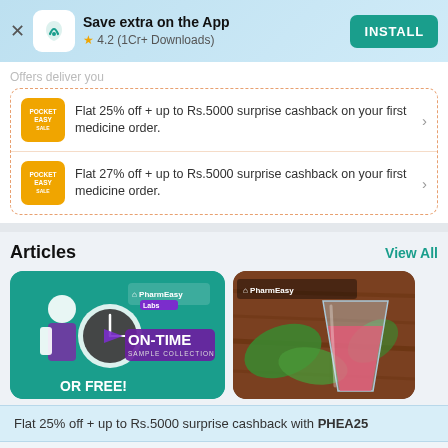Save extra on the App — 4.2 (1Cr+ Downloads) — INSTALL
Offers deliver you
Flat 25% off + up to Rs.5000 surprise cashback on your first medicine order.
Flat 27% off + up to Rs.5000 surprise cashback on your first medicine order.
Articles
View All
[Figure (screenshot): PharmEasy Labs On-Time Sample Collection or Free promotional card with doctor illustration and stopwatch]
[Figure (photo): PharmEasy branded card showing a glass of pink/red juice drink with green leaves on wooden table]
Flat 25% off + up to Rs.5000 surprise cashback with PHEA25
Add To Cart